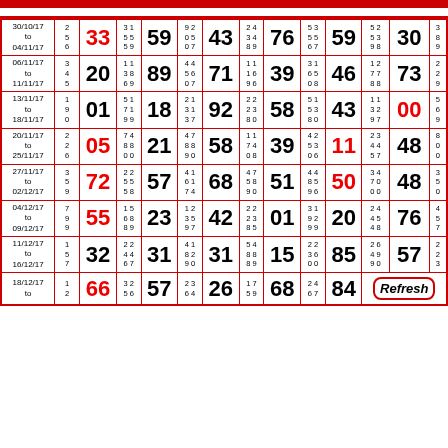| Date | Nums | Ball | Nums | Ball | Nums | Ball | Nums | Ball | Nums | Ball | Nums | Ball | Extra |
| --- | --- | --- | --- | --- | --- | --- | --- | --- | --- | --- | --- | --- | --- |
| 30/10/17 to 04/11/17 | 2 5 6 | 33 | 31 55 59 | 59 | 92 05 07 | 43 | 24 34 89 | 76 | 53 55 67 | 59 | 52 53 98 | 30 | 3 8 9 |
| 06/11/17 to 11/11/17 | 3 4 5 | 20 | 11 38 69 | 89 | 44 56 07 | 71 | 11 16 96 | 39 | 31 65 08 | 46 | 12 77 88 | 73 | 2 2 9 |
| 13/11/17 to 18/11/17 | 1 9 0 | 01 | 51 71 99 | 18 | 21 31 37 | 92 | 22 23 80 | 58 | 51 53 80 | 43 | 11 32 97 | 00 | 5 6 9 |
| 20/11/17 to 25/11/17 | 2 2 6 | 05 | 74 88 00 | 21 | 47 88 90 | 58 | 11 74 08 | 39 | 42 53 06 | 11 | 23 44 57 | 48 | 8 0 0 |
| 27/11/17 to 02/12/17 | 3 5 9 | 72 | 22 55 58 | 57 | 41 61 74 | 68 | 47 58 90 | 51 | 44 85 96 | 50 | 34 70 00 | 48 | 3 5 0 |
| 04/12/17 to 09/12/17 | 7 9 9 | 55 | 15 68 89 | 23 | 12 35 97 | 42 | 22 23 85 | 01 | 31 92 99 | 20 | 24 45 48 | 76 | 4 5 7 |
| 11/12/17 to 16/12/17 | 1 5 7 | 32 | 22 44 67 | 31 | 41 82 90 | 31 | 54 88 89 | 15 | 22 36 00 | 85 | 26 49 90 | 57 | 2 2 3 |
| 18/12/17 to ... | 1 2 | 66 | 32 56 | 57 | 23 64 | 26 | 17 59 | 68 | 24 67 | 84 |  |  |  |